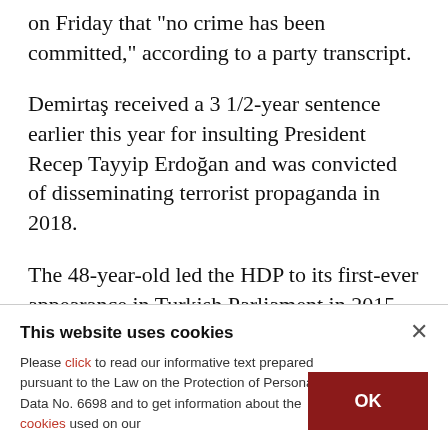on Friday that "no crime has been committed," according to a party transcript.
Demirtaş received a 3 1/2-year sentence earlier this year for insulting President Recep Tayyip Erdoğan and was convicted of disseminating terrorist propaganda in 2018.
The 48-year-old led the HDP to its first-ever appearance in Turkish Parliament in 2015 and challenged incumbent Erdoğan in the 2014 and
This website uses cookies
Please click to read our informative text prepared pursuant to the Law on the Protection of Personal Data No. 6698 and to get information about the cookies used on our